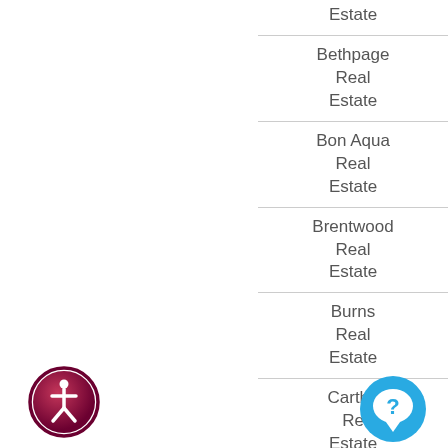Estate
Bethpage Real Estate
Bon Aqua Real Estate
Brentwood Real Estate
Burns Real Estate
Cartha Real Estate
[Figure (logo): Accessibility icon — circular badge with person/wheelchair symbol in dark pink/maroon gradient]
[Figure (logo): Chat/support icon — blue circle with speech bubble and question mark]